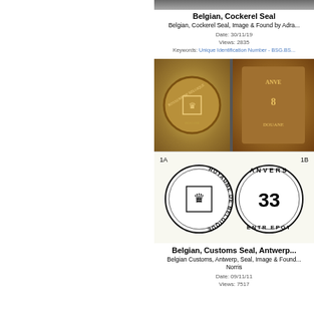[Figure (photo): Top portion of a coin/seal photograph (cropped, mostly cut off)]
Belgian, Cockerel Seal
Belgian, Cockerel Seal, Image & Found by Adra...
Date: 30/11/19
Views: 2835
Keywords: Unique Identification Number - BSG.BS...
[Figure (photo): Photographs of Belgian lead seals showing front and side views with coat of arms and DOUANE text]
[Figure (illustration): Line drawings of Belgian customs seals: 1A showing ROYAUME DE BELGIQUE with coat of arms, 1B showing ANVERS ENTREPOT with number 33]
Belgian, Customs Seal, Antwerp...
Belgian Customs, Antwerp, Seal, Image & Found... Norris
Date: 09/11/11
Views: 7517